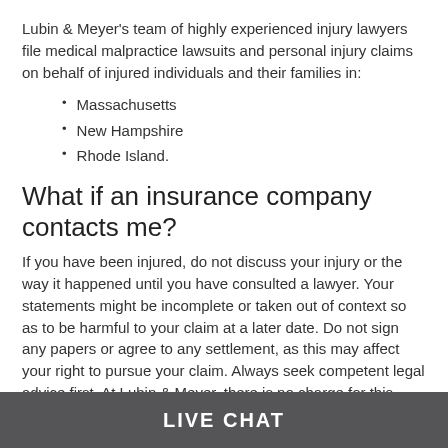Lubin & Meyer's team of highly experienced injury lawyers file medical malpractice lawsuits and personal injury claims on behalf of injured individuals and their families in:
Massachusetts
New Hampshire
Rhode Island.
What if an insurance company contacts me?
If you have been injured, do not discuss your injury or the way it happened until you have consulted a lawyer. Your statements might be incomplete or taken out of context so as to be harmful to your claim at a later date. Do not sign any papers or agree to any settlement, as this may affect your right to pursue your claim. Always seek competent legal advice first. At Lubin & Meyer, there is no charge for this consultation.
Will there be a charge to evaluate my claim?
No. At Lubin & Meyer, we will meet with you to discuss your injury
LIVE CHAT